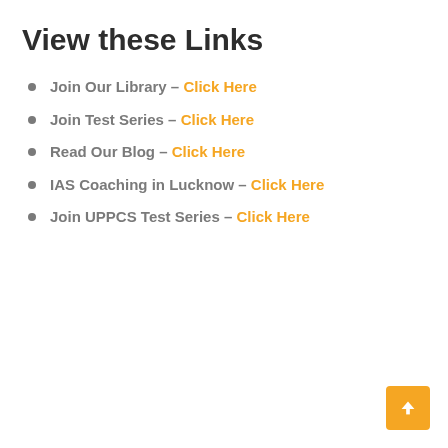View these Links
Join Our Library  – Click Here
Join Test Series – Click Here
Read Our Blog – Click Here
IAS Coaching in Lucknow – Click Here
Join UPPCS Test Series – Click Here